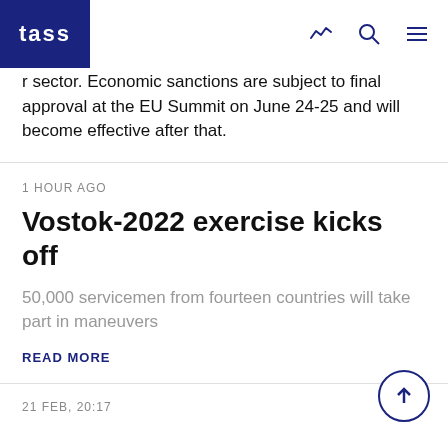TASS
r sector. Economic sanctions are subject to final approval at the EU Summit on June 24-25 and will become effective after that.
1 HOUR AGO
Vostok-2022 exercise kicks off
50,000 servicemen from fourteen countries will take part in maneuvers
READ MORE
21 FEB, 20:17